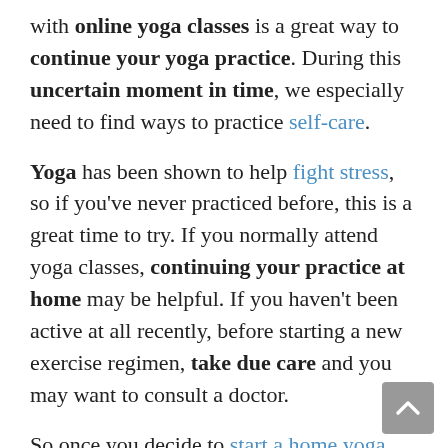with online yoga classes is a great way to continue your yoga practice. During this uncertain moment in time, we especially need to find ways to practice self-care.
Yoga has been shown to help fight stress, so if you've never practiced before, this is a great time to try. If you normally attend yoga classes, continuing your practice at home may be helpful. If you haven't been active at all recently, before starting a new exercise regimen, take due care and you may want to consult a doctor.
So once you decide to start a home yoga practice, how do you actually do it? I emailed and spoke with six Boston area yoga instructors to give us some tips. Hopefully you can takeaway a few of these suggestions and put